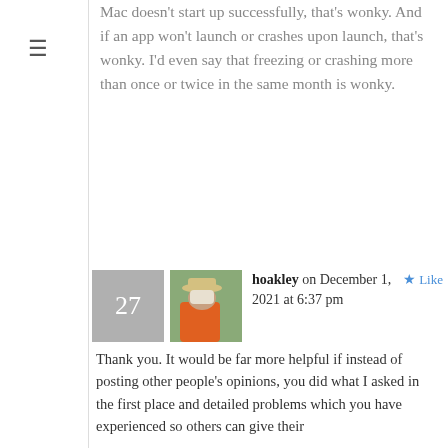Mac doesn't start up successfully, that's wonky. And if an app won't launch or crashes upon launch, that's wonky. I'd even say that freezing or crashing more than once or twice in the same month is wonky.
hoakley on December 1, 2021 at 6:37 pm
Thank you. It would be far more helpful if instead of posting other people's opinions, you did what I asked in the first place and detailed problems which you have experienced so others can give their